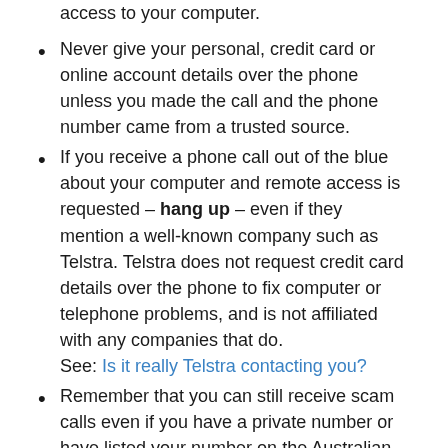access to your computer.
Never give your personal, credit card or online account details over the phone unless you made the call and the phone number came from a trusted source.
If you receive a phone call out of the blue about your computer and remote access is requested – hang up – even if they mention a well-known company such as Telstra. Telstra does not request credit card details over the phone to fix computer or telephone problems, and is not affiliated with any companies that do. See: Is it really Telstra contacting you?
Remember that you can still receive scam calls even if you have a private number or have listed your number on the Australian Government's Do Not Call Register. Scammers can obtain your number fraudulently.